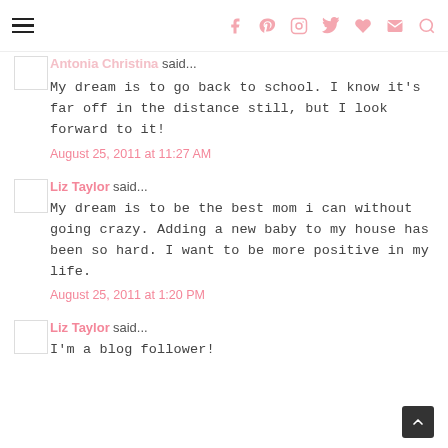Navigation header with hamburger menu and social icons (Facebook, Pinterest, Instagram, Twitter, Heart, Email, Search)
Antonia Christina said...
My dream is to go back to school. I know it's far off in the distance still, but I look forward to it!
August 25, 2011 at 11:27 AM
Liz Taylor said...
My dream is to be the best mom i can without going crazy. Adding a new baby to my house has been so hard. I want to be more positive in my life.
August 25, 2011 at 1:20 PM
Liz Taylor said...
I'm a blog follower!